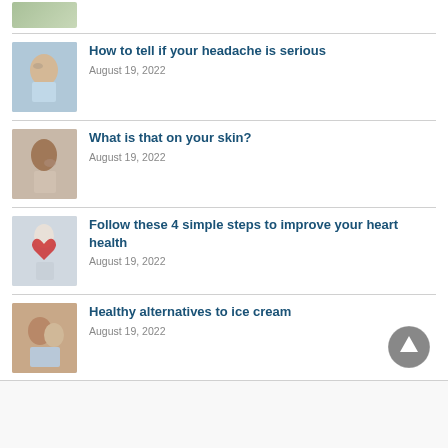[Figure (photo): Top partial image of food/pills]
How to tell if your headache is serious
August 19, 2022
[Figure (photo): Person touching their head with headache]
What is that on your skin?
August 19, 2022
[Figure (photo): Woman examining skin on face]
Follow these 4 simple steps to improve your heart health
August 19, 2022
[Figure (photo): Doctor holding a red heart]
Healthy alternatives to ice cream
August 19, 2022
[Figure (photo): Two people enjoying food together]